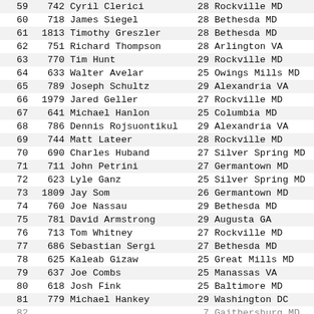| Place | Bib | Name | Age | City | Time |
| --- | --- | --- | --- | --- | --- |
| 59 | 742 | Cyril Clerici | 28 | Rockville MD | 38:29 |
| 60 | 718 | James Siegel | 28 | Bethesda MD | 38:52 |
| 61 | 1813 | Timothy Greszler | 28 | Bethesda MD | 39:22 |
| 62 | 751 | Richard Thompson | 28 | Arlington VA | 39:48 |
| 63 | 770 | Tim Hunt | 29 | Rockville MD | 39:54 |
| 64 | 633 | Walter Avelar | 25 | Owings Mills MD | 40:00 |
| 65 | 789 | Joseph Schultz | 29 | Alexandria VA | 40:03 |
| 66 | 1979 | Jared Geller | 27 | Rockville MD | 40:22 |
| 67 | 641 | Michael Hanlon | 25 | Columbia MD | 40:22 |
| 68 | 786 | Dennis Rojsuontikul | 29 | Alexandria VA | 40:46 |
| 69 | 744 | Matt Lateer | 28 | Rockville MD | 41:00 |
| 70 | 690 | Charles Huband | 27 | Silver Spring MD | 41:03 |
| 71 | 711 | John Petrini | 27 | Germantown MD | 41:08 |
| 72 | 623 | Lyle Ganz | 25 | Silver Spring MD | 41:22 |
| 73 | 1809 | Jay Som | 26 | Germantown MD | 41:23 |
| 74 | 760 | Joe Nassau | 29 | Bethesda MD | 41:24 |
| 75 | 781 | David Armstrong | 29 | Augusta GA | 41:57 |
| 76 | 713 | Tom Whitney | 27 | Rockville MD | 42:18 |
| 77 | 686 | Sebastian Sergi | 27 | Bethesda MD | 42:20 |
| 78 | 625 | Kaleab Gizaw | 25 | Great Mills MD | 42:20 |
| 79 | 637 | Joe Combs | 25 | Manassas VA | 43:10 |
| 80 | 618 | Josh Fink | 25 | Baltimore MD | 43:26 |
| 81 | 779 | Michael Hankey | 29 | Washington DC | 43:28 |
| 82 | ... | ... | 7 | Gaithersburg MD | 43:47 |